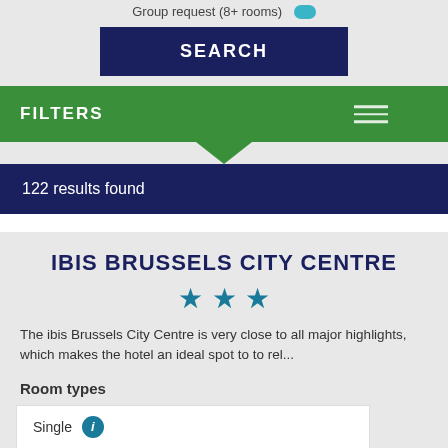Group request (8+ rooms)
SEARCH
FILTERS
122 results found
IBIS BRUSSELS CITY CENTRE
★★★
The ibis Brussels City Centre is very close to all major highlights, which makes the hotel an ideal spot to to rel...
Room types
Single